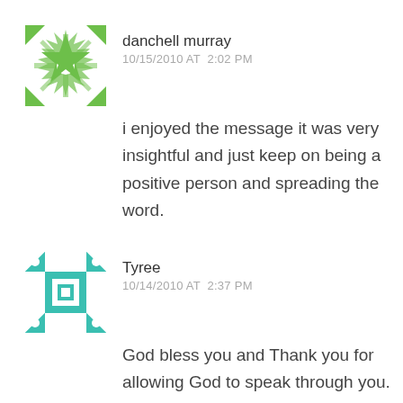[Figure (illustration): Green geometric snowflake-pattern avatar for danchell murray]
danchell murray
10/15/2010 AT 2:02 PM
i enjoyed the message it was very insightful and just keep on being a positive person and spreading the word.
[Figure (illustration): Teal/cyan geometric quilt-pattern avatar for Tyree]
Tyree
10/14/2010 AT 2:37 PM
God bless you and Thank you for allowing God to speak through you.
[Figure (illustration): Purple/pink geometric quilt-pattern avatar for John Stennis]
John Stennis
10/13/2010 AT 8:06 PM